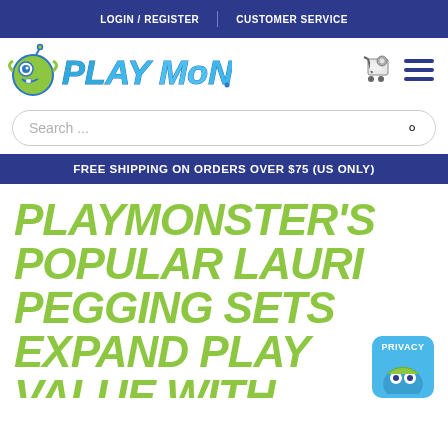LOGIN / REGISTER | CUSTOMER SERVICE
[Figure (logo): PlayMonster logo with green monster character and blue stylized text]
Search ...
FREE SHIPPING ON ORDERS OVER $75 (US ONLY)
PLAYMONSTER'S POPULAR LAURI PEGGING SETS EXPAND PLAY VALUE WITH ACTION-STACKERS!